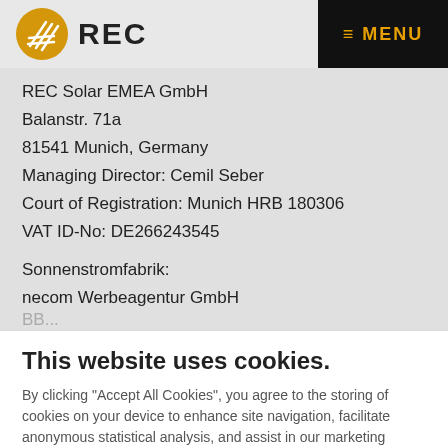REC — MENU
REC Solar EMEA GmbH
Balanstr. 71a
81541 Munich, Germany
Managing Director: Cemil Seber
Court of Registration: Munich HRB 180306
VAT ID-No: DE266243545
Sonnenstromfabrik:
necom Werbeagentur GmbH
This website uses cookies.
By clicking "Accept All Cookies", you agree to the storing of cookies on your device to enhance site navigation, facilitate anonymous statistical analysis, and assist in our marketing efforts. To learn more about how we use cookies, please see our Privacy Policy.